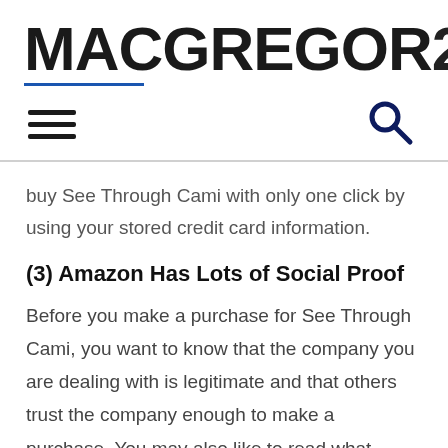MACGREGOR26
buy See Through Cami with only one click by using your stored credit card information.
(3) Amazon Has Lots of Social Proof
Before you make a purchase for See Through Cami, you want to know that the company you are dealing with is legitimate and that others trust the company enough to make a purchase. You may also like to read what others